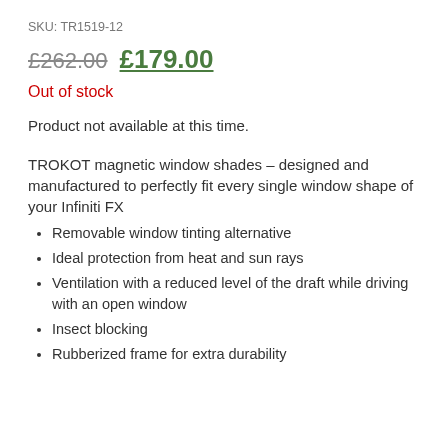SKU: TR1519-12
£262.00 £179.00
Out of stock
Product not available at this time.
TROKOT magnetic window shades – designed and manufactured to perfectly fit every single window shape of your Infiniti FX
Removable window tinting alternative
Ideal protection from heat and sun rays
Ventilation with a reduced level of the draft while driving with an open window
Insect blocking
Rubberized frame for extra durability